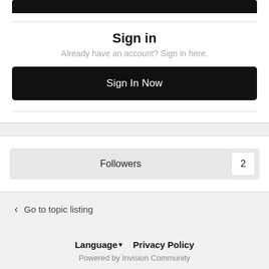Sign in
Already have an account? Sign in here.
Sign In Now
Followers 2
Go to topic listing
Language ▼  Privacy Policy
Powered by Invision Community